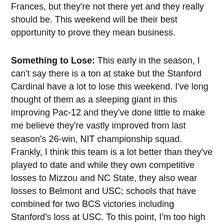Frances, but they're not there yet and they really should be. This weekend will be their best opportunity to prove they mean business.
Something to Lose: This early in the season, I can't say there is a ton at stake but the Stanford Cardinal have a lot to lose this weekend. I've long thought of them as a sleeping giant in this improving Pac-12 and they've done little to make me believe they're vastly improved from last season's 26-win, NIT championship squad. Frankly, I think this team is a lot better than they've played to date and while they own competitive losses to Mizzou and NC State, they also wear losses to Belmont and USC; schools that have combined for two BCS victories including Stanford's loss at USC. To this point, I'm too high on the Cardinal's pieces to imagine they need to fight their way back into the mix but their 0-2 start doesn't exactly instill confidence before they host a less than intimidating Washington faction. Anything less than a sweep for the Cardinal and I